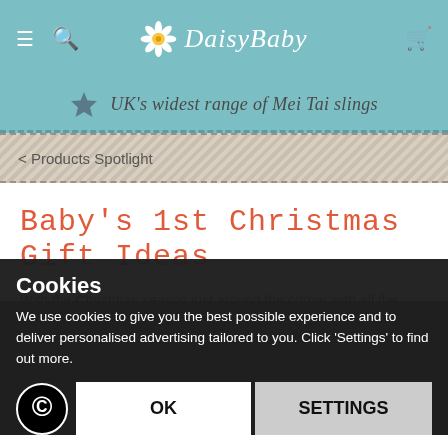Daisy Baby — UK's widest range of Mei Tai slings
< Products Spotlight
Baby's 1st Christmas Gift Ideas
With the Christmas season just around the corner with all the festive activities to enjoy, finding the ideal Christmas gift for little ones is one of those many pleasures.
Cookies
We use cookies to give you the best possible experience and to deliver personalised advertising tailored to you. Click 'Settings' to find out more.
OK
SETTINGS